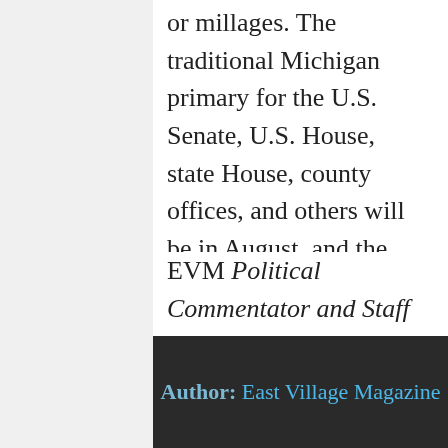or millages. The traditional Michigan primary for the U.S. Senate, U.S. House, state House, county offices, and others will be in August, and the presidential general election will be in Nov.
EVM Political Commentator and Staff Writer Paul Rozycki can be reached at paul.rozycki@mcc.edu.
Share this:
Author: East Village Magazine